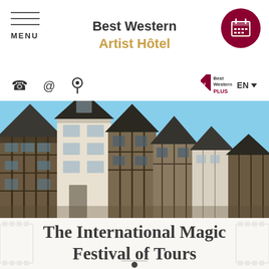Best Western Artist Hôtel
MENU
[Figure (logo): Best Western Plus logo badge with diamond shape]
EN
[Figure (photo): Half-timbered medieval buildings in Tours, France under blue sky]
The International Magic Festival of Tours